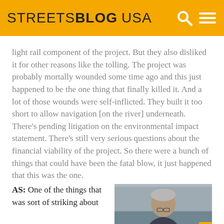STREETSBLOG USA
light rail component of the project. But they also disliked it for other reasons like the tolling. The project was probably mortally wounded some time ago and this just happened to be the one thing that finally killed it. And a lot of those wounds were self-inflicted. They built it too short to allow navigation [on the river] underneath. There’s pending litigation on the environmental impact statement. There’s still very serious questions about the financial viability of the project. So there were a bunch of things that could have been the fatal blow, it just happened that this was the one.
AS: One of the things that was sort of striking about...
[Figure (photo): Photo of a man, appears to be an older gentleman with glasses, outdoors near water]